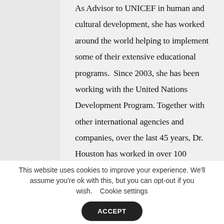As Advisor to UNICEF in human and cultural development, she has worked around the world helping to implement some of their extensive educational programs.  Since 2003, she has been working with the United Nations Development Program. Together with other international agencies and companies, over the last 45 years, Dr. Houston has worked in over 100 countries. In 1965, along with her husband Dr. Robert Masters, Dr.
This website uses cookies to improve your experience. We'll assume you're ok with this, but you can opt-out if you wish. Cookie settings ACCEPT